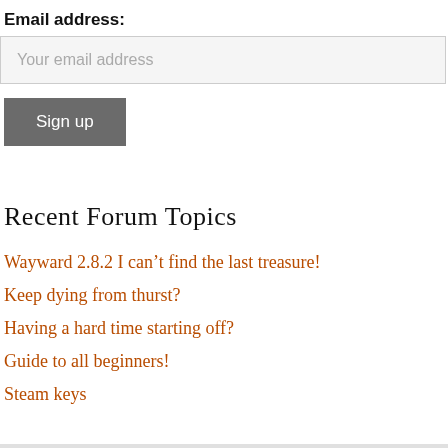Email address:
Your email address
Sign up
Recent Forum Topics
Wayward 2.8.2 I can’t find the last treasure!
Keep dying from thurst?
Having a hard time starting off?
Guide to all beginners!
Steam keys